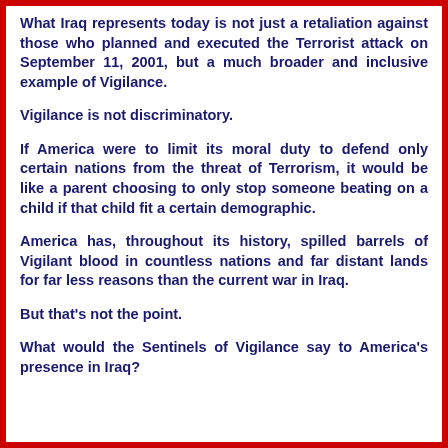What Iraq represents today is not just a retaliation against those who planned and executed the Terrorist attack on September 11, 2001, but a much broader and inclusive example of Vigilance.
Vigilance is not discriminatory.
If America were to limit its moral duty to defend only certain nations from the threat of Terrorism, it would be like a parent choosing to only stop someone beating on a child if that child fit a certain demographic.
America has, throughout its history, spilled barrels of Vigilant blood in countless nations and far distant lands for far less reasons than the current war in Iraq.
But that's not the point.
What would the Sentinels of Vigilance say to America's presence in Iraq?